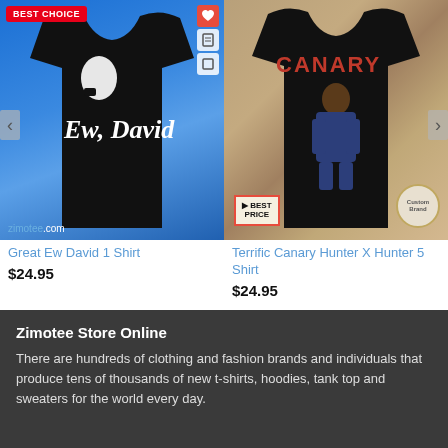[Figure (photo): Product image of 'Great Ew David 1 Shirt' - black t-shirt with white script text 'Ew, David', worn by a man, on blue background. Has 'BEST CHOICE' red badge in top-left.]
Great Ew David 1 Shirt
$24.95
[Figure (photo): Product image of 'Terrific Canary Hunter X Hunter 5 Shirt' - black t-shirt with red 'CANARY' text and illustrated character graphic, on textured orange/red background. Has 'BEST PRICE' badge.]
Terrific Canary Hunter X Hunter 5 Shirt
$24.95
Zimotee Store Online
There are hundreds of clothing and fashion brands and individuals that produce tens of thousands of new t-shirts, hoodies, tank top and sweaters for the world every day.